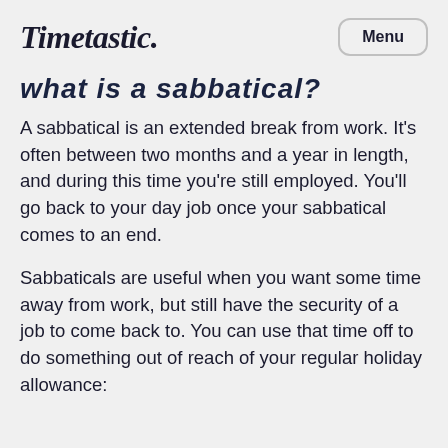Timetastic.
What is a sabbatical?
A sabbatical is an extended break from work. It’s often between two months and a year in length, and during this time you’re still employed. You’ll go back to your day job once your sabbatical comes to an end.
Sabbaticals are useful when you want some time away from work, but still have the security of a job to come back to. You can use that time off to do something out of reach of your regular holiday allowance: